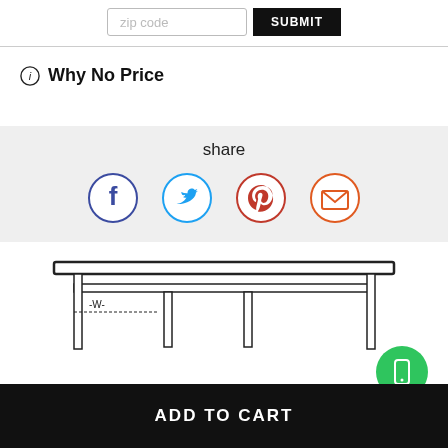zip code  SUBMIT
Why No Price
share
[Figure (infographic): Social share icons: Facebook (dark blue circle), Twitter (light blue circle), Pinterest (red circle), Email (red/orange circle with envelope icon)]
[Figure (illustration): Line drawing of a furniture piece (table/bench) shown from the front, with vertical support legs and a horizontal top surface.]
ADD TO CART